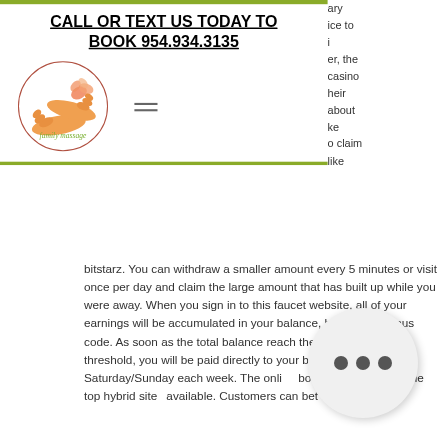CALL OR TEXT US TODAY TO BOOK 954.934.3135
[Figure (logo): Family massage logo: circular border with illustrated massage hands and butterfly/flower graphic, text 'family massage' in script]
ary
ice to
i
er, the
casino
heir
about
ke
o claim
like
bitstarz. You can withdraw a smaller amount every 5 minutes or visit once per day and claim the large amount that has built up while you were away. When you sign in to this faucet website, all of your earnings will be accumulated in your balance, bitstarz 41 bonus code. As soon as the total balance reach the 50,000 satoshi threshold, you will be paid directly to your bitcoin wallet on Saturday/Sunday each week. The online bookmaker is one of the top hybrid sites available. Customers can bet with Bitcoin